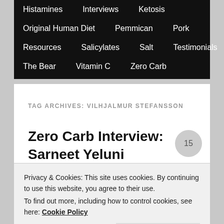Histamines  Interviews  Ketosis  Original Human Diet  Pemmican  Pork  Resources  Salicylates  Salt  Testimonials  The Bear  Vitamin C  Zero Carb
TAG ARCHIVES: VILHJALMUR STEFANSSON
Zero Carb Interview:
Privacy & Cookies: This site uses cookies. By continuing to use this website, you agree to their use.
To find out more, including how to control cookies, see here: Cookie Policy
Close and accept
[Figure (photo): Partial photo visible at bottom of page, appears to show outdoor/nature scene]